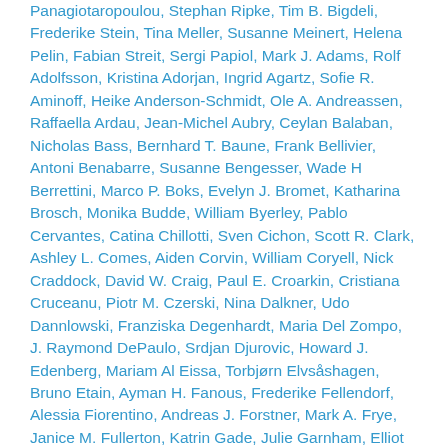Panagiotaropoulou, Stephan Ripke, Tim B. Bigdeli, Frederike Stein, Tina Meller, Susanne Meinert, Helena Pelin, Fabian Streit, Sergi Papiol, Mark J. Adams, Rolf Adolfsson, Kristina Adorjan, Ingrid Agartz, Sofie R. Aminoff, Heike Anderson-Schmidt, Ole A. Andreassen, Raffaella Ardau, Jean-Michel Aubry, Ceylan Balaban, Nicholas Bass, Bernhard T. Baune, Frank Bellivier, Antoni Benabarre, Susanne Bengesser, Wade H Berrettini, Marco P. Boks, Evelyn J. Bromet, Katharina Brosch, Monika Budde, William Byerley, Pablo Cervantes, Catina Chillotti, Sven Cichon, Scott R. Clark, Ashley L. Comes, Aiden Corvin, William Coryell, Nick Craddock, David W. Craig, Paul E. Croarkin, Cristiana Cruceanu, Piotr M. Czerski, Nina Dalkner, Udo Dannlowski, Franziska Degenhardt, Maria Del Zompo, J. Raymond DePaulo, Srdjan Djurovic, Howard J. Edenberg, Mariam Al Eissa, Torbjørn Elvsåshagen, Bruno Etain, Ayman H. Fanous, Frederike Fellendorf, Alessia Fiorentino, Andreas J. Forstner, Mark A. Frye, Janice M. Fullerton, Katrin Gade, Julie Garnham, Elliot Gershon, Michael Gill, Fernando S. Goes, Katherine Gordon-Smith, Paul Grof, Jose Guzman-Parra, Tim Hahn, Roland Hasler, Maria Heilbronner, Urs Heilbronner, Stephane Jamain,